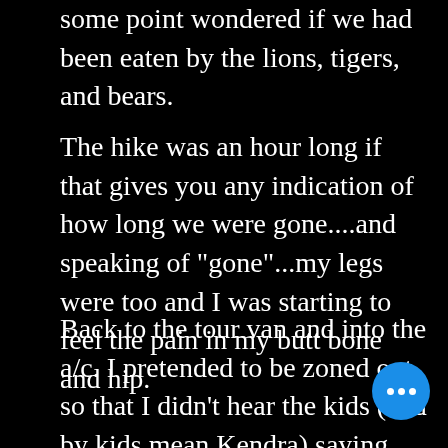some point wondered if we had been eaten by the lions, tigers, and bears.
The hike was an hour long if that gives you any indication of how long we were gone....and speaking of "gone"...my legs were too and I was starting to feel the pain in my butt bone and hip.
Back to the tour van and into the a/c. I pretended to be zoned out so that I didn't hear the kids (and by kids mean Kendra) saying. "Did